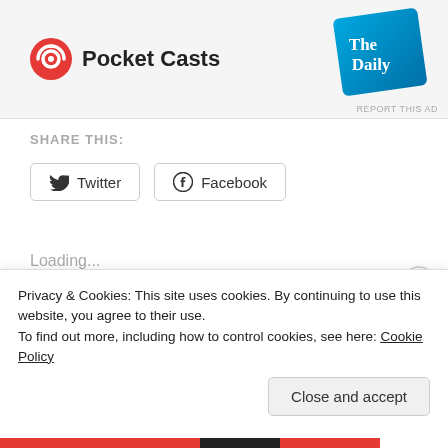[Figure (screenshot): Pocket Casts logo with red circular icon and 'Pocket Casts' text. 'The Daily' podcast cover art shown at upper right. 'REPORT THIS AD' label at bottom right.]
SHARE THIS:
Twitter  Facebook
Loading...
RELATED
Marathon Training: Week One
Marathon Training: Week Two
Privacy & Cookies: This site uses cookies. By continuing to use this website, you agree to their use.
To find out more, including how to control cookies, see here: Cookie Policy